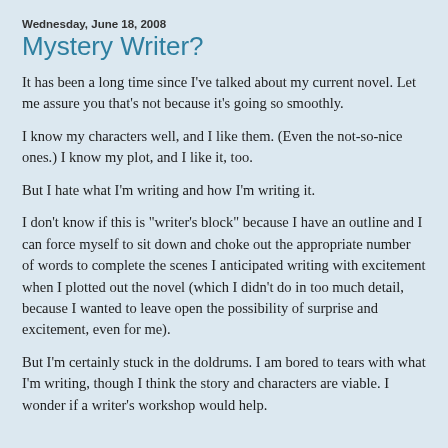Wednesday, June 18, 2008
Mystery Writer?
It has been a long time since I've talked about my current novel. Let me assure you that's not because it's going so smoothly.
I know my characters well, and I like them. (Even the not-so-nice ones.) I know my plot, and I like it, too.
But I hate what I'm writing and how I'm writing it.
I don't know if this is "writer's block" because I have an outline and I can force myself to sit down and choke out the appropriate number of words to complete the scenes I anticipated writing with excitement when I plotted out the novel (which I didn't do in too much detail, because I wanted to leave open the possibility of surprise and excitement, even for me).
But I'm certainly stuck in the doldrums. I am bored to tears with what I'm writing, though I think the story and characters are viable. I wonder if a writer's workshop would help.